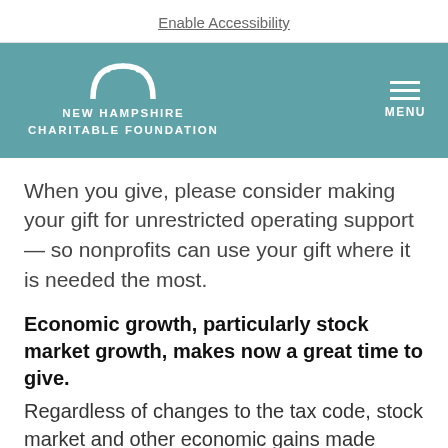Enable Accessibility
[Figure (logo): New Hampshire Charitable Foundation logo with arch graphic and MENU button on teal background]
When you give, please consider making your gift for unrestricted operating support — so nonprofits can use your gift where it is needed the most.
Economic growth, particularly stock market growth, makes now a great time to give.
Regardless of changes to the tax code, stock market and other economic gains made since